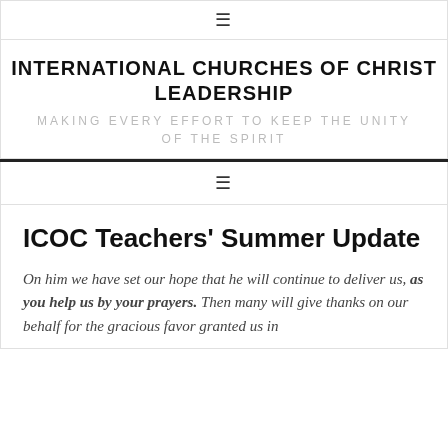≡
INTERNATIONAL CHURCHES OF CHRIST LEADERSHIP
MAKING EVERY EFFORT TO KEEP THE UNITY OF THE SPIRIT
≡
ICOC Teachers' Summer Update
On him we have set our hope that he will continue to deliver us, as you help us by your prayers. Then many will give thanks on our behalf for the gracious favor granted us in